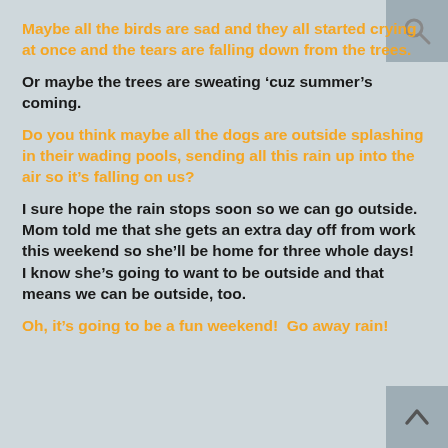Maybe all the birds are sad and they all started crying at once and the tears are falling down from the trees.
Or maybe the trees are sweating ‘cuz summer’s coming.
Do you think maybe all the dogs are outside splashing in their wading pools, sending all this rain up into the air so it’s falling on us?
I sure hope the rain stops soon so we can go outside. Mom told me that she gets an extra day off from work this weekend so she’ll be home for three whole days!  I know she’s going to want to be outside and that means we can be outside, too.
Oh, it’s going to be a fun weekend!  Go away rain!